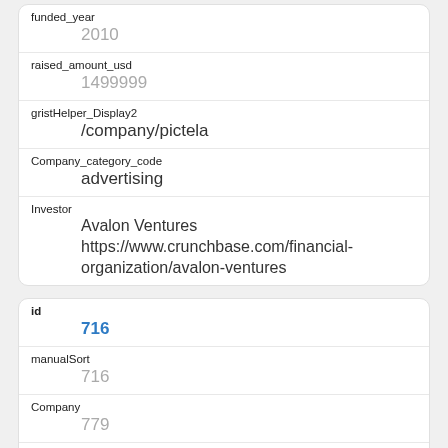| Field | Value |
| --- | --- |
| funded_year | 2010 |
| raised_amount_usd | 1499999 |
| gristHelper_Display2 | /company/pictela |
| Company_category_code | advertising |
| Investor | Avalon Ventures
https://www.crunchbase.com/financial-organization/avalon-ventures |
| Field | Value |
| --- | --- |
| id | 716 |
| manualSort | 716 |
| Company | 779 |
| investor_permalink | /financial-organization/avalon-ventures |